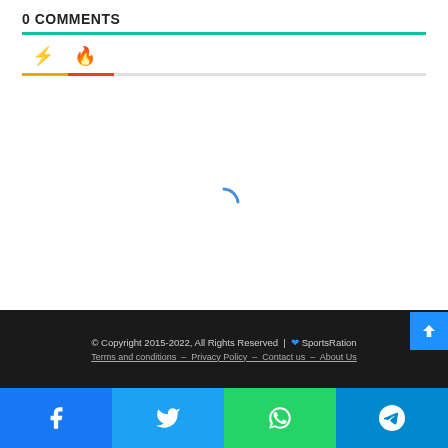0 COMMENTS
[Figure (screenshot): Tab icons row with lightning bolt (yellow) and flame (orange-red) icons, with colored underlines below each tab]
[Figure (other): Loading spinner arc in blue, indicating content is loading]
© Copyright 2015-2022, All Rights Reserved | ♥ SportsRation   Terms and conditions  –  Privacy Policy  –  Contact us  –  About Us
[Figure (infographic): Social sharing bar with Facebook, Twitter, WhatsApp, and Telegram icons in colored buttons at bottom of page]